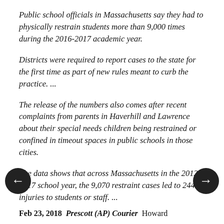Public school officials in Massachusetts say they had to physically restrain students more than 9,000 times during the 2016-2017 academic year.
Districts were required to report cases to the state for the first time as part of new rules meant to curb the practice. ...
The release of the numbers also comes after recent complaints from parents in Haverhill and Lawrence about their special needs children being restrained or confined in timeout spaces in public schools in those cities.
The data shows that across Massachusetts in the 20126-2017 school year, the 9,070 restraint cases led to 244 injuries to students or staff. ...
Feb 23, 2018  Prescott (AP) Courier Howard